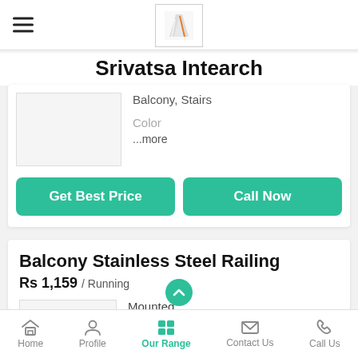[Figure (logo): Srivatsa Intearch company logo in a bordered box]
Srivatsa Intearch
Balcony, Stairs
Color
...more
Get Best Price
Call Now
Balcony Stainless Steel Railing
Rs 1,159 / Running
Mounted
Floor M
Home  Profile  Our Range  Contact Us  Call Us